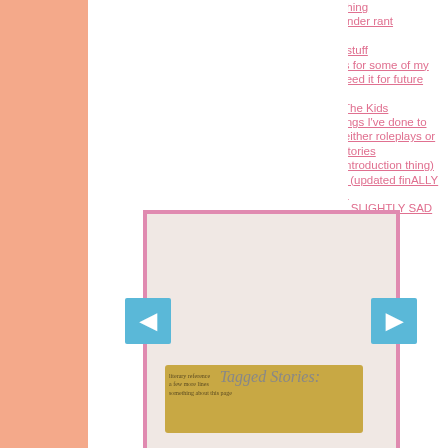about me thing
another gender rant
eeee
Drunk!OC stuff
face claims for some of my OCs bc i need it for future reference
Here's To The Kids
horrible things I've done to my ocs in either roleplays or their backstories
i am finn (introduction thing)
Marzin-Bio (updated finALLY GOD MAT)
mat writes: SLIGHTLY SAD
[Figure (photo): A book or card with a pink/mauve border, featuring a scroll/paper element with text inside, flanked by blue navigation arrows on left and right.]
Tagged Stories: